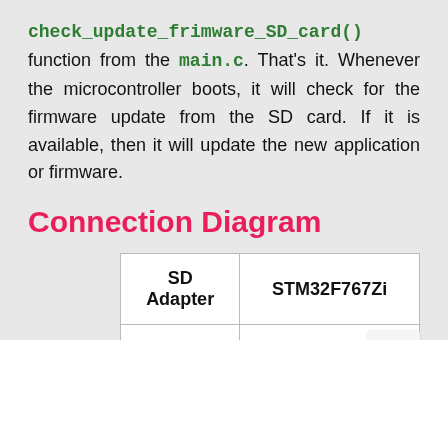check_update_frimware_SD_card() function from the main.c. That's it. Whenever the microcontroller boots, it will check for the firmware update from the SD card. If it is available, then it will update the new application or firmware.
Connection Diagram
| SD Adapter | STM32F767Zi |
| --- | --- |
| CS | PD14 (GPIO SD_CS) |